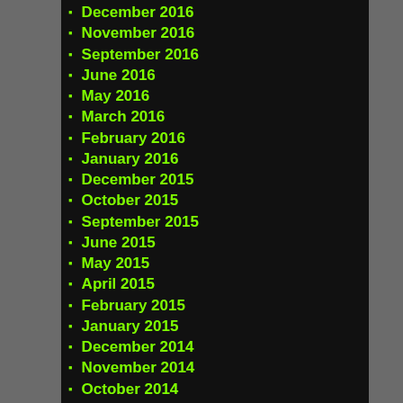December 2016
November 2016
September 2016
June 2016
May 2016
March 2016
February 2016
January 2016
December 2015
October 2015
September 2015
June 2015
May 2015
April 2015
February 2015
January 2015
December 2014
November 2014
October 2014
September 2014
August 2014